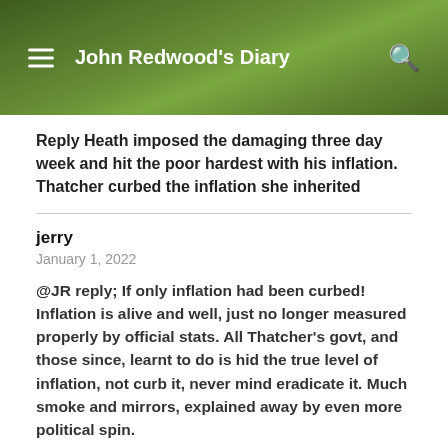John Redwood's Diary
Reply Heath imposed the damaging three day week and hit the poor hardest with his inflation. Thatcher curbed the inflation she inherited
jerry
January 1, 2022
@JR reply; If only inflation had been curbed! Inflation is alive and well, just no longer measured properly by official stats. All Thatcher's govt, and those since, learnt to do is hid the true level of inflation, not curb it, never mind eradicate it. Much smoke and mirrors, explained away by even more political spin.